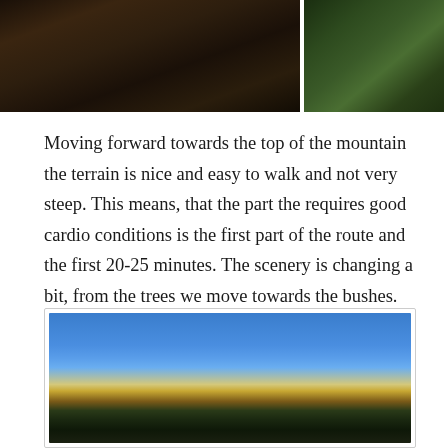[Figure (photo): Two mountain landscape photos side by side at the top of the page. Left photo shows a dark rocky cliff face. Right photo shows a green forested mountain slope.]
Moving forward towards the top of the mountain the terrain is nice and easy to walk and not very steep. This means, that the part the requires good cardio conditions is the first part of the route and the first 20-25 minutes. The scenery is changing a bit, from the trees we move towards the bushes.
[Figure (photo): A panoramic mountain landscape photo showing a blue sky with scattered clouds, dark forested hills on both sides, and a dry open terrain in the foreground.]